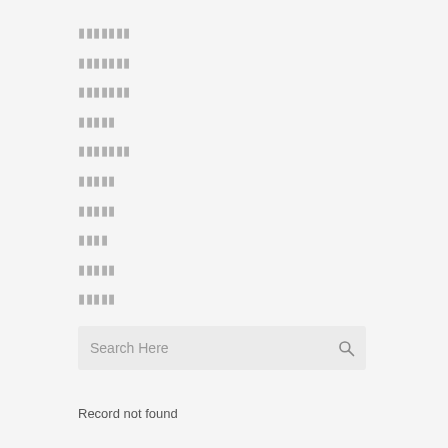▪▪▪▪▪▪▪
▪▪▪▪▪▪▪
▪▪▪▪▪▪▪
▪▪▪▪▪
▪▪▪▪▪▪▪
▪▪▪▪▪
▪▪▪▪▪
▪▪▪▪
▪▪▪▪▪
▪▪▪▪▪
Search Here
Record not found